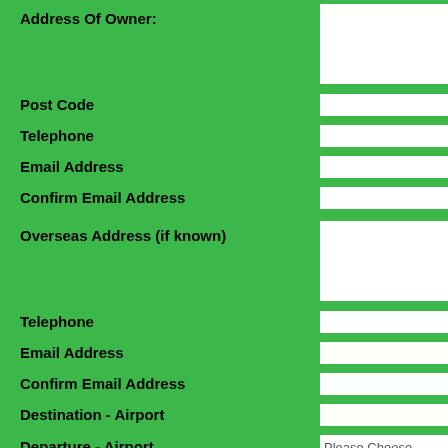Address Of Owner:
Post Code
Telephone
Email Address
Confirm Email Address
Overseas Address (if known)
Telephone
Email Address
Confirm Email Address
Destination - Airport
Departure - Airport
Pet No.1 - Type Of Pet
Pet (if other)
Length From Nose To Root Of Tail (do not include tail)